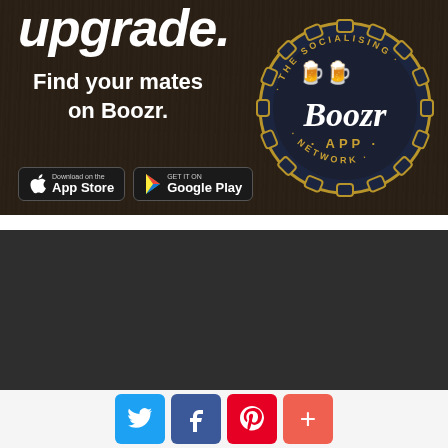[Figure (illustration): Boozr App advertisement on dark wood background. Text reads 'upgrade.' at top, 'Find your mates on Boozr.' in center-left. App Store and Google Play download buttons at bottom-left. Boozr App Network bottle cap logo on right side.]
[Figure (logo): Broadway Baby star-with-pen-nib logo in white on dark grey background]
Broadway Baby has been covering performing arts across the UK and
[Figure (infographic): Social sharing buttons row: Twitter (blue bird), Facebook (blue f), Pinterest (red P), More (coral plus sign)]